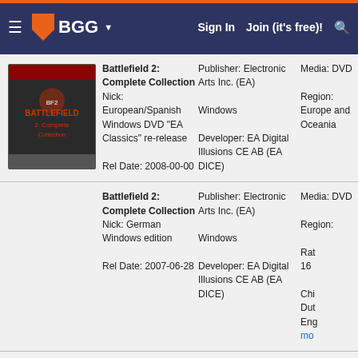BGG — Sign In  Join (it's free)!
Battlefield 2: Complete Collection
Nick: European/Spanish Windows DVD "EA Classics" re-release
Rel Date: 2008-00-00
Publisher: Electronic Arts Inc. (EA)
Windows
Developer: EA Digital Illusions CE AB (EA DICE)
Media: DVD
Region: Europe and Oceania
Battlefield 2: Complete Collection
Nick: German Windows edition
Rel Date: 2007-06-28
Publisher: Electronic Arts Inc. (EA)
Windows
Developer: EA Digital Illusions CE AB (EA DICE)
Media: DVD
Region:
Rat 16
Chi Dut Eng mo
Battlefield 2: Complete Collection
Nick: US Windows DVD Edition
Rel
Publisher: Electronic Arts Inc. (EA)
Windows
Developer: EA Digital Illusions CE AB (EA DICE)
Media: DVD
Region:
Rati Eng